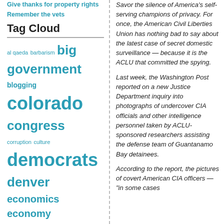Give thanks for property rights
Remember the vets
Tag Cloud
al qaeda barbarism big government blogging colorado congress corruption culture democrats denver economics economy elections environmentalism firearms freedom global warming gop gun control guns health care human rights humor iraq islam islamofascism israel journalism leftists liberty media bias military moonbats msm
Savor the silence of America's self-serving champions of privacy. For once, the American Civil Liberties Union has nothing bad to say about the latest case of secret domestic surveillance — because it is the ACLU that committed the spying.
Last week, the Washington Post reported on a new Justice Department inquiry into photographs of undercover CIA officials and other intelligence personnel taken by ACLU-sponsored researchers assisting the defense team of Guantanamo Bay detainees.
According to the report, the pictures of covert American CIA officers — "in some cases